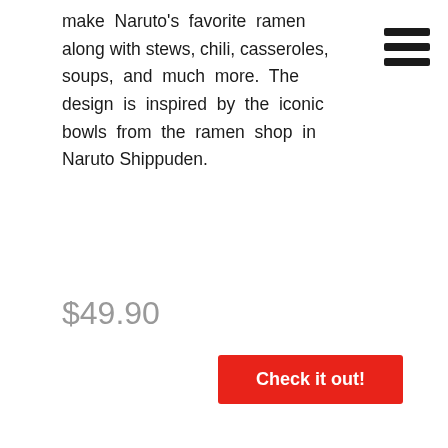make Naruto's favorite ramen along with stews, chili, casseroles, soups, and much more. The design is inspired by the iconic bowls from the ramen shop in Naruto Shippuden.
$49.90
Check it out!
Ramen Spork
[Figure (photo): A spork (combined spoon and fork utensil) resting in a bowl of ramen noodles with egg, meat, and green onions]